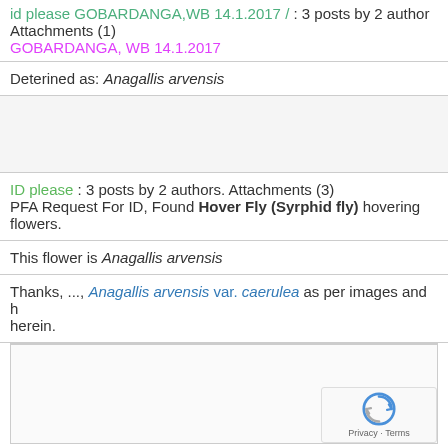id please GOBARDANGA,WB 14.1.2017 / : 3 posts by 2 authors. Attachments (1)
GOBARDANGA, WB 14.1.2017
Deterined as: Anagallis arvensis
ID please : 3 posts by 2 authors. Attachments (3)
PFA Request For ID, Found Hover Fly (Syrphid fly) hovering flowers.
This flower is Anagallis arvensis
Thanks, ..., Anagallis arvensis var. caerulea as per images and herein.